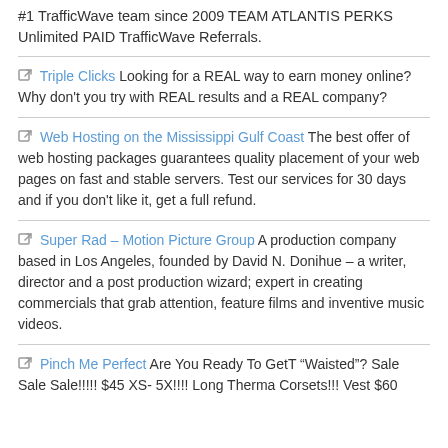#1 TrafficWave team since 2009 TEAM ATLANTIS PERKS Unlimited PAID TrafficWave Referrals.
Triple Clicks Looking for a REAL way to earn money online? Why don't you try with REAL results and a REAL company?
Web Hosting on the Mississippi Gulf Coast The best offer of web hosting packages guarantees quality placement of your web pages on fast and stable servers. Test our services for 30 days and if you don't like it, get a full refund.
Super Rad – Motion Picture Group A production company based in Los Angeles, founded by David N. Donihue – a writer, director and a post production wizard; expert in creating commercials that grab attention, feature films and inventive music videos.
Pinch Me Perfect Are You Ready To GetT “Waisted”? Sale Sale Sale!!!!! $45 XS- 5X!!!! Long Therma Corsets!!! Vest $60